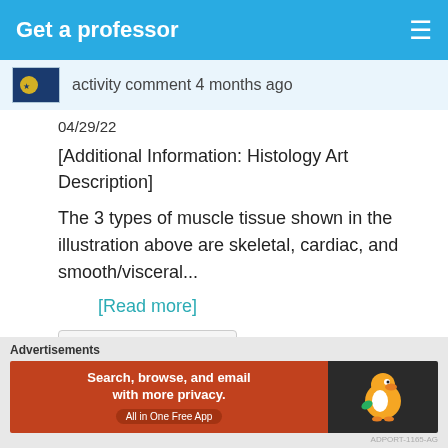Get a professor
activity comment 4 months ago
04/29/22
[Additional Information: Histology Art Description]
The 3 types of muscle tissue shown in the illustration above are skeletal, cardiac, and smooth/visceral...
[Read more]
View Conversation
Advertisements
[Figure (screenshot): DuckDuckGo advertisement banner: 'Search, browse, and email with more privacy. All in One Free App' with DuckDuckGo logo on dark background.]